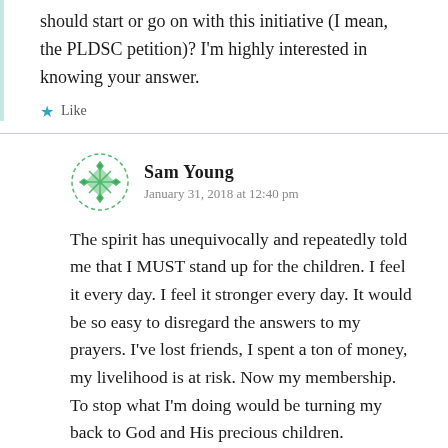should start or go on with this initiative (I mean, the PLDSC petition)? I'm highly interested in knowing your answer.
★ Like
Sam Young
January 31, 2018 at 12:40 pm
The spirit has unequivocally and repeatedly told me that I MUST stand up for the children. I feel it every day. I feel it stronger every day. It would be so easy to disregard the answers to my prayers. I've lost friends, I spent a ton of money, my livelihood is at risk. Now my membership. To stop what I'm doing would be turning my back to God and His precious children.